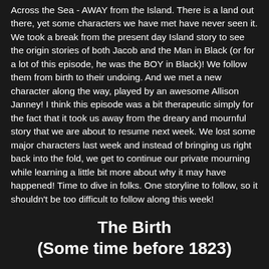Across the Sea - AWAY from the Island.  There is a land out there, yet some characters we have met have never seen it.  We took a break from the present day Island story to see the origin stories of both Jacob and the Man in Black (or for a lot of this episode, he was the BOY in Black)!  We follow them from birth to their undoing.  And we met a new character along the way, played by an awesome Allison Janney!    I think this episode was a bit therapeutic simply for the fact that it took us away from the dreary and mournful story that we are about to resume next week.  We lost some major characters last week and instead of bringing us right back into the fold, we get to continue our private mourning while learning a little bit more about why it may have happened!   Time to dive in folks.  One storyline to follow, so it shouldn't be too difficult to follow along this week!
The Birth
(Some time before 1823)
We open up on a wreck in the middle of the ocean.  There is a woman floating by and is still alive.  She catches a glimpse